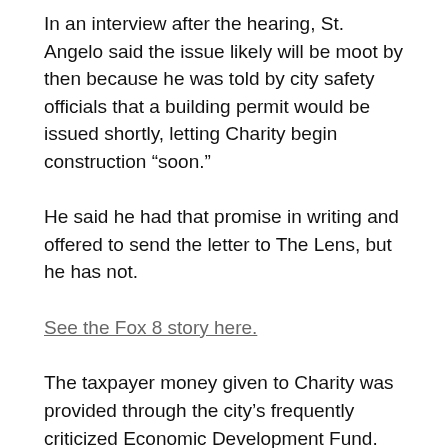In an interview after the hearing, St. Angelo said the issue likely will be moot by then because he was told by city safety officials that a building permit would be issued shortly, letting Charity begin construction “soon.”
He said he had that promise in writing and offered to send the letter to The Lens, but he has not.
See the Fox 8 story here.
The taxpayer money given to Charity was provided through the city’s frequently criticized Economic Development Fund. The program is overseen by city official Thomas Nash, who said in January that the city was delaying Charity’s progress by holding